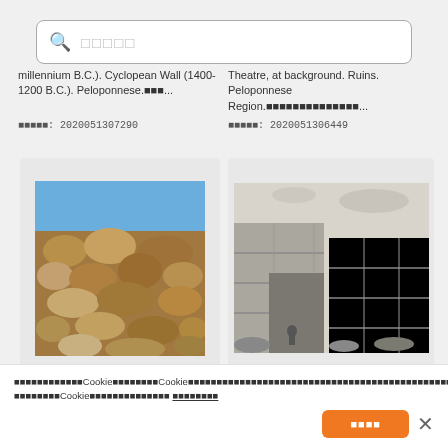[Figure (screenshot): Search bar with magnifying glass icon and placeholder text in Japanese/CJK characters]
millennium B.C.). Cyclopean Wall (1400-1200 B.C.). Peloponnese.■■■...
Theatre, at background. Ruins. Peloponnese Region.■■■■■■■■■■■■■■...
■■■■■: 2020051307290
■■■■■: 2020051306449
[Figure (photo): Color photo of ancient Cyclopean stone wall with blue sky background]
[Figure (illustration): Black and white engraving of ancient stone ruins, Peloponnese region]
■■■■■■■■■■■■Cookie■■■■■■■■Cookie■■■■■■■■■■■■■■■■■■■■■■■■■■■■■■■■■■■■■■■■■■■■■■■■■■■■■■■■■■Cookie■■■■■■■■■■■■■■